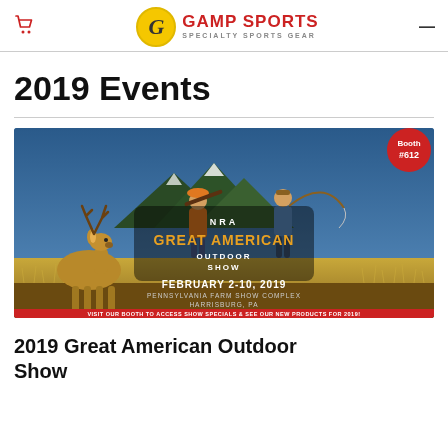Gamp Sports — Specialty Sports Gear
2019 Events
[Figure (illustration): NRA Great American Outdoor Show banner. Features a white-tailed deer, two hunters (one with a shotgun, one fly-fishing), mountains, golden grass field, blue sky. Text: NRA GREAT AMERICAN OUTDOOR SHOW | FEBRUARY 2-10, 2019 | PENNSYLVANIA FARM SHOW COMPLEX | HARRISBURG, PA | VISIT OUR BOOTH TO ACCESS SHOW SPECIALS & SEE OUR NEW PRODUCTS FOR 2019! | Booth #612 (red circle, top right)]
2019 Great American Outdoor Show